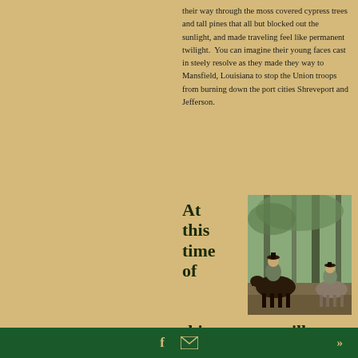their way through the moss covered cypress trees and tall pines that all but blocked out the sunlight, and made traveling feel like permanent twilight.  You can imagine their young faces cast in steely resolve as they made they way to Mansfield, Louisiana to stop the Union troops from burning down the port cities Shreveport and Jefferson.
At this time of
[Figure (photo): Two soldiers on horseback in a wooded forest setting, appearing to be Civil War era reenactors in Confederate uniforms]
this post, we still
f  [mail icon]  »